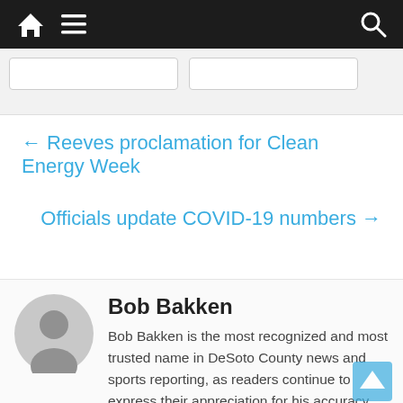Navigation bar with home, menu, and search icons
← Reeves proclamation for Clean Energy Week
Officials update COVID-19 numbers →
Bob Bakken
Bob Bakken is the most recognized and most trusted name in DeSoto County news and sports reporting, as readers continue to express their appreciation for his accuracy and fairness in the